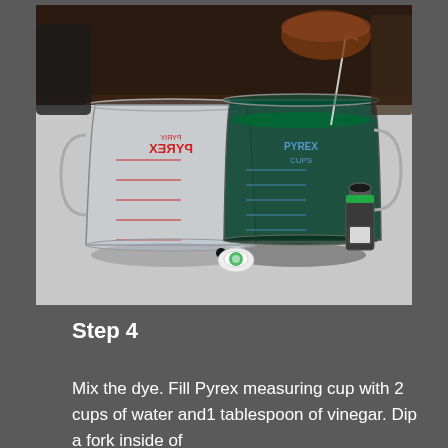[Figure (photo): Two Pyrex glass measuring cups on a white surface. The left one is empty and clear with red measurement markings. The right one contains dark green liquid (water with green dye) and a metal stirring rod. A small bottle of green food coloring and its white cap are visible in the foreground on the right side.]
Step 4
Mix the dye. Fill Pyrex measuring cup with 2 cups of water and1 tablespoon of vinegar. Dip a fork inside of